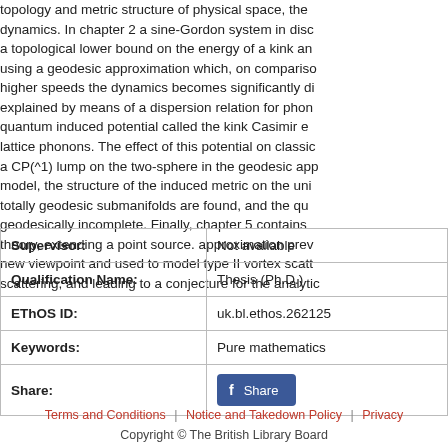topology and metric structure of physical space, the dynamics. In chapter 2 a sine-Gordon system in disc a topological lower bound on the energy of a kink ano using a geodesic approximation which, on compariso higher speeds the dynamics becomes significantly di explained by means of a dispersion relation for phon quantum induced potential called the kink Casimir e lattice phonons. The effect of this potential on classic a CP(^1) lump on the two-sphere in the geodesic app model, the structure of the induced metric on the uni totally geodesic submanifolds are found, and the qua geodesically incomplete. Finally, chapter 5 contains a theory, extending a point source. approximation prev new viewpoint and used to model type II vortex scatte scattering, and leading to a conjecture for the analytic
| Label | Value |
| --- | --- |
| Supervisor: | Not available |
| Qualification Name: | Thesis (Ph.D.) |
| EThOS ID: | uk.bl.ethos.262125 |
| Keywords: | Pure mathematics |
| Share: | Share |
Terms and Conditions | Notice and Takedown Policy | Privacy
Copyright © The British Library Board